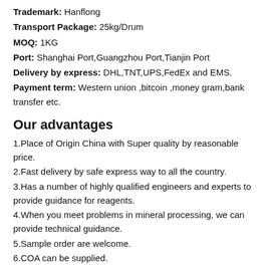Trademark: Hanflong
Transport Package: 25kg/Drum
MOQ: 1KG
Port: Shanghai Port,Guangzhou Port,Tianjin Port
Delivery by express: DHL,TNT,UPS,FedEx and EMS.
Payment term: Western union ,bitcoin ,money gram,bank transfer etc.
Our advantages
1.Place of Origin China with Super quality by reasonable price.
2.Fast delivery by safe express way to all the country.
3.Has a number of highly qualified engineers and experts to provide guidance for reagents.
4.When you meet problems in mineral processing, we can provide technical guidance.
5.Sample order are welcome.
6.COA can be supplied.
7.We can supply sample for testing.
8.We promise 100% deliveried,and 100% resend or refunds if